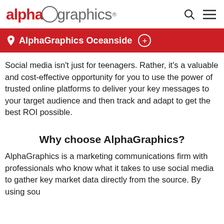alphagraphics
AlphaGraphics Oceanside
Social media isn't just for teenagers. Rather, it's a valuable and cost-effective opportunity for you to use the power of trusted online platforms to deliver your key messages to your target audience and then track and adapt to get the best ROI possible.
Why choose AlphaGraphics?
AlphaGraphics is a marketing communications firm with professionals who know what it takes to use social media to gather key market data directly from the source. By using sou…